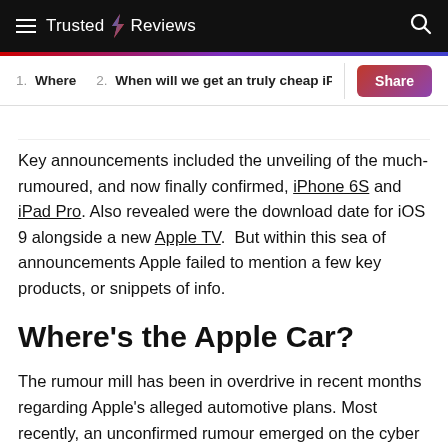Trusted Reviews
1. Where   2. When will we get an truly cheap iP...   Share
Key announcements included the unveiling of the much-rumoured, and now finally confirmed, iPhone 6S and iPad Pro. Also revealed were the download date for iOS 9 alongside a new Apple TV.  But within this sea of announcements Apple failed to mention a few key products, or snippets of info.
Where's the Apple Car?
The rumour mill has been in overdrive in recent months regarding Apple's alleged automotive plans. Most recently, an unconfirmed rumour emerged on the cyber highways suggesting that Apple is taking a page out of Google's book and developing a self-driving...